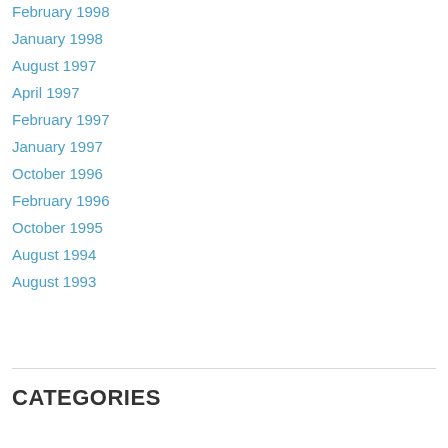February 1998
January 1998
August 1997
April 1997
February 1997
January 1997
October 1996
February 1996
October 1995
August 1994
August 1993
CATEGORIES